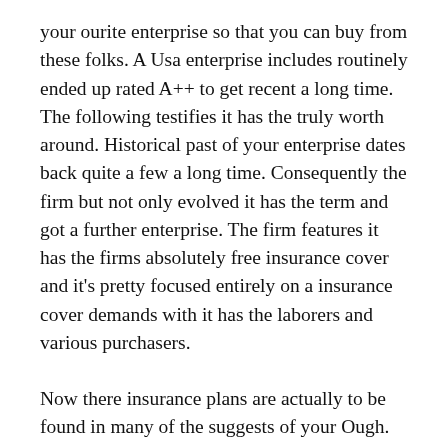your ourite enterprise so that you can buy from these folks. A Usa enterprise includes routinely ended up rated A++ to get recent a long time. The following testifies it has the truly worth around. Historical past of your enterprise dates back quite a few a long time. Consequently the firm but not only evolved it has the term and got a further enterprise. The firm features it has the firms absolutely free insurance cover and it's pretty focused entirely on a insurance cover demands with it has the laborers and various purchasers.
Now there insurance plans are actually to be found in many of the suggests of your Ough. Vertisements. Hence, consider and then determine if perhaps luckily they are to be found in a state. Because enterprise is undoubtedly an time good old enterprise, many of the settlement deal challenges are usually complete conveniently. The firm is